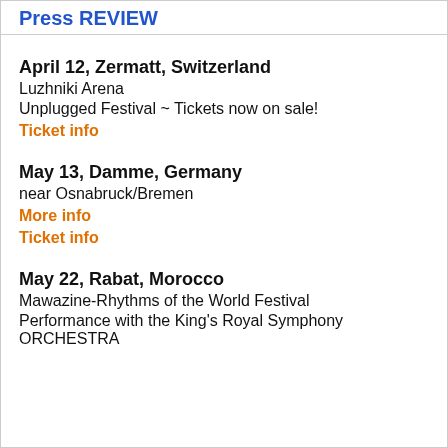Press REVIEW
April 12, Zermatt, Switzerland
Luzhniki Arena
Unplugged Festival ~ Tickets now on sale!
Ticket info
May 13, Damme, Germany
near Osnabruck/Bremen
More info
Ticket info
May 22, Rabat, Morocco
Mawazine-Rhythms of the World Festival
Performance with the King's Royal Symphony ORCHESTRA